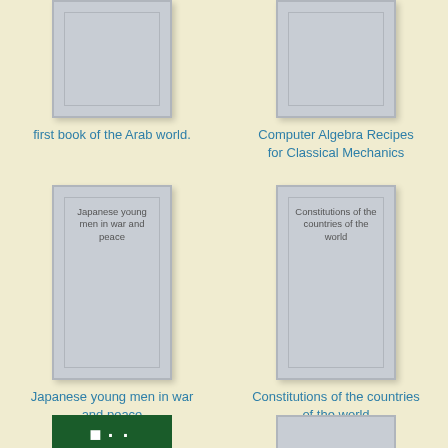[Figure (illustration): Book cover placeholder (gray rectangle) for 'first book of the Arab world', partially cropped at top]
first book of the Arab world.
[Figure (illustration): Book cover placeholder (gray rectangle) for 'Computer Algebra Recipes for Classical Mechanics', partially cropped at top]
Computer Algebra Recipes for Classical Mechanics
[Figure (illustration): Book cover placeholder (gray rectangle) with text 'Japanese young men in war and peace' inside]
Japanese young men in war and peace
[Figure (illustration): Book cover placeholder (gray rectangle) with text 'Constitutions of the countries of the world' inside]
Constitutions of the countries of the world
[Figure (illustration): Dark green book cover with large bold white dot-pattern letters, partially visible at bottom]
[Figure (illustration): Gray book cover placeholder, partially visible at bottom right]